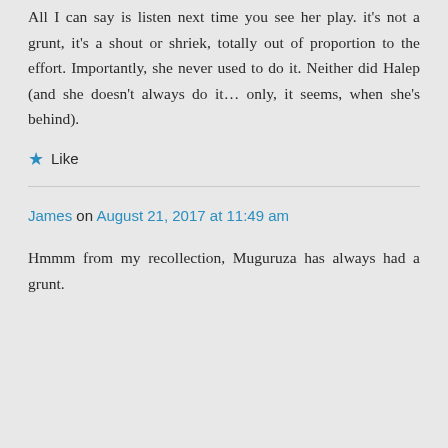All I can say is listen next time you see her play. it's not a grunt, it's a shout or shriek, totally out of proportion to the effort. Importantly, she never used to do it. Neither did Halep (and she doesn't always do it… only, it seems, when she's behind).
★ Like
James on August 21, 2017 at 11:49 am
Hmmm from my recollection, Muguruza has always had a grunt.